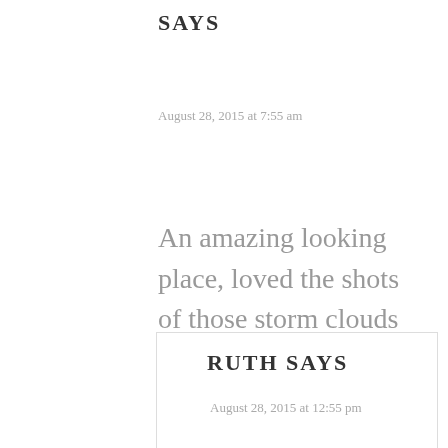SAYS
August 28, 2015 at 7:55 am
An amazing looking place, loved the shots of those storm clouds rolling in.
Reply
RUTH SAYS
August 28, 2015 at 12:55 pm